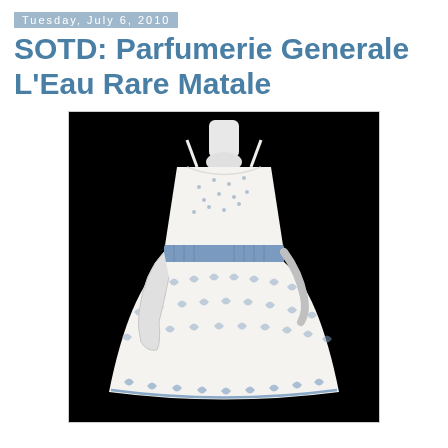Tuesday, July 6, 2010
SOTD: Parfumerie Generale L'Eau Rare Matale
[Figure (photo): A white and blue summer dress with floral/leaf embroidery pattern displayed on a mannequin against a black background. The dress features a blue ruched sash/band at the waist, spaghetti straps, a scoop neckline, and a full pleated skirt.]